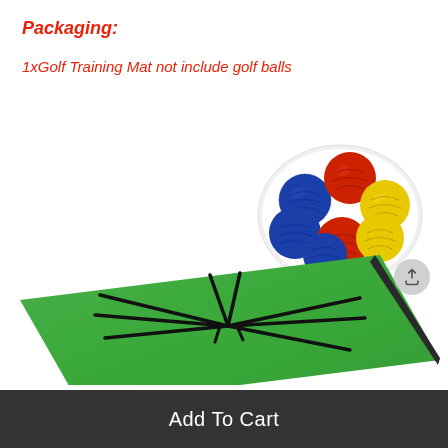Packaging:
1xGolf Training Mat not include golf balls
[Figure (photo): A green golf training mat laid flat showing black diagonal alignment lines radiating from a center point, with colorful golf balls (blue, red, yellow) displayed in a white bowl in the upper right corner]
Add To Cart